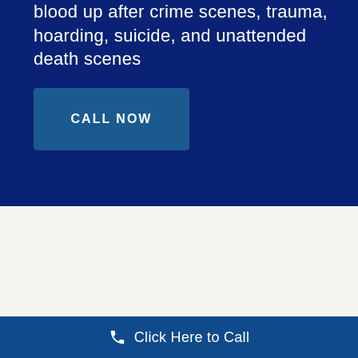blood up after crime scenes, trauma, hoarding, suicide, and unattended death scenes
CALL NOW
WHAT OUR CLIENTS SAY
Testimonials
We are active 24/7 to help people nationwide to
Click Here to Call